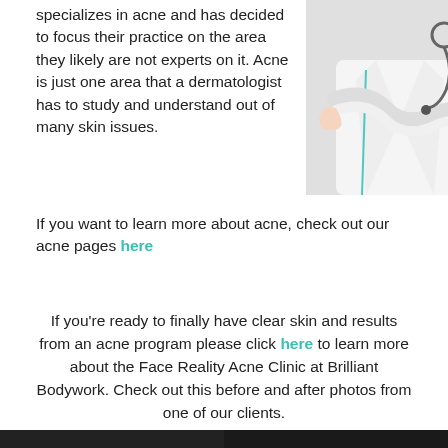specializes in acne and has decided to focus their practice on the area they likely are not experts on it. Acne is just one area that a dermatologist has to study and understand out of many skin issues.
[Figure (photo): Doctor in white coat with stethoscope, arms crossed, viewed from chest down]
If you want to learn more about acne, check out our acne pages here
If you're ready to finally have clear skin and results from an acne program please click here to learn more about the Face Reality Acne Clinic at Brilliant Bodywork. Check out this before and after photos from one of our clients.
[Figure (photo): Before and after photo strip at the bottom of the page]